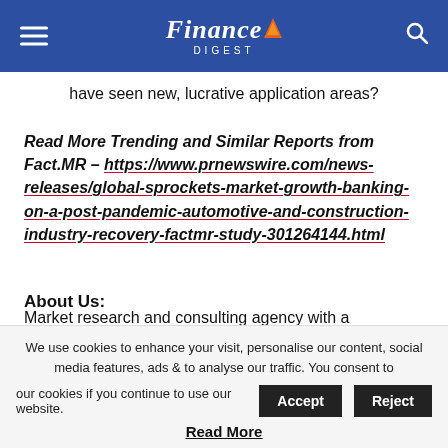Finance Digest
have seen new, lucrative application areas?
Read More Trending and Similar Reports from Fact.MR – https://www.prnewswire.com/news-releases/global-sprockets-market-growth-banking-on-a-post-pandemic-automotive-and-construction-industry-recovery-factmr-study-301264144.html
About Us:
Market research and consulting agency with a difference! That's why 80% of Fortune 1,000 companies trust us for
We use cookies to enhance your visit, personalise our content, social media features, ads & to analyse our traffic. You consent to our cookies if you continue to use our website.
Read More